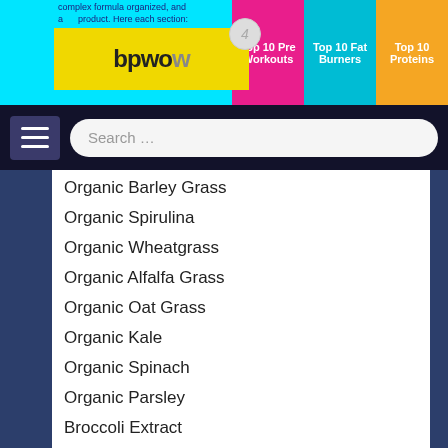complex formula organized, and a product. Here each section:
[Figure (logo): bpwow logo with yellow background, badge with number 4]
Top 10 Pre Workouts | Top 10 Fat Burners | Top 10 Proteins
Search ...
Organic Barley Grass
Organic Spirulina
Organic Wheatgrass
Organic Alfalfa Grass
Organic Oat Grass
Organic Kale
Organic Spinach
Organic Parsley
Broccoli Extract
Glycemic Balance Blend:
Soluble Rice Bran
Stevia